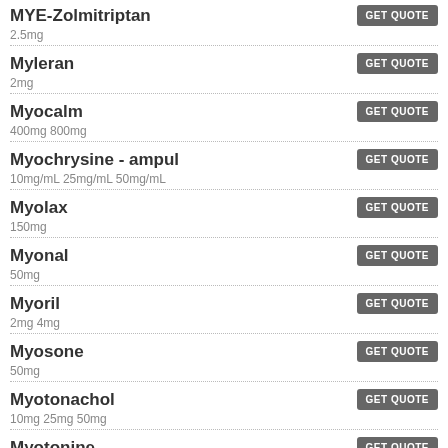MYE-Zolmitriptan 2.5mg
Myleran 2mg
Myocalm 400mg 800mg
Myochrysine - ampul 10mg/mL 25mg/mL 50mg/mL
Myolax 150mg
Myonal 50mg
Myoril 2mg 4mg
Myosone 50mg
Myotonachol 10mg 25mg 50mg
Myotonine